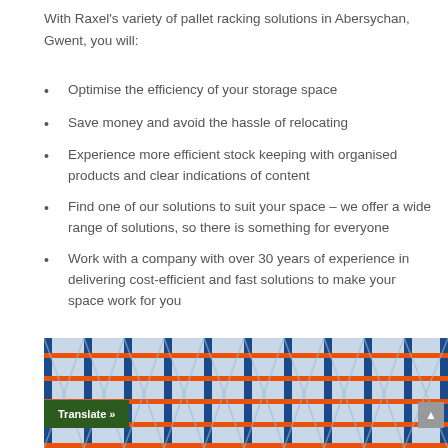With Raxel's variety of pallet racking solutions in Abersychan, Gwent, you will:
Optimise the efficiency of your storage space
Save money and avoid the hassle of relocating
Experience more efficient stock keeping with organised products and clear indications of content
Find one of our solutions to suit your space – we offer a wide range of solutions, so there is something for everyone
Work with a company with over 30 years of experience in delivering cost-efficient and fast solutions to make your space work for you
[Figure (photo): Photograph of blue and orange industrial pallet racking system in a warehouse]